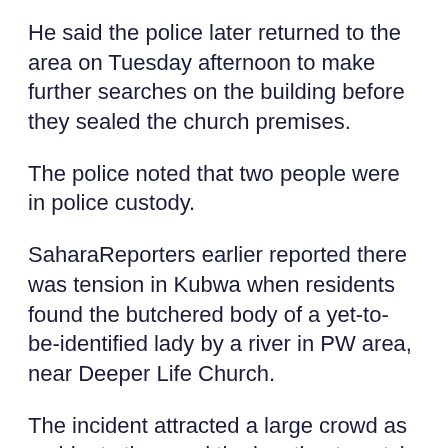He said the police later returned to the area on Tuesday afternoon to make further searches on the building before they sealed the church premises.
The police noted that two people were in police custody.
SaharaReporters earlier reported there was tension in Kubwa when residents found the butchered body of a yet-to-be-identified lady by a river in PW area, near Deeper Life Church.
The incident attracted a large crowd as residents thronged the location to catch a glimpse of the butchered and decapitated body of the lady.
A beheaded corpse of a n*ked woman packed inside two bags was seen beside the river, while the body parts were cut into pieces with blood stains on the